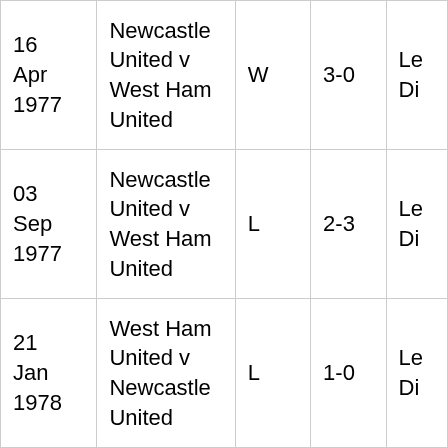| 16 Apr 1977 | Newcastle United v West Ham United | W | 3-0 | Le Di |
| 03 Sep 1977 | Newcastle United v West Ham United | L | 2-3 | Le Di |
| 21 Jan 1978 | West Ham United v Newcastle United | L | 1-0 | Le Di |